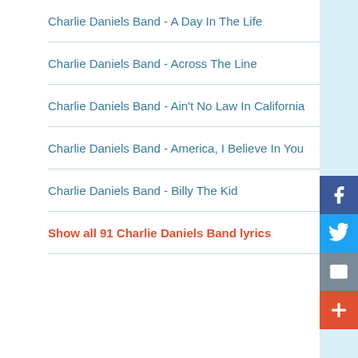Charlie Daniels Band - A Day In The Life
Charlie Daniels Band - Across The Line
Charlie Daniels Band - Ain't No Law In California
Charlie Daniels Band - America, I Believe In You
Charlie Daniels Band - Billy The Kid
Show all 91 Charlie Daniels Band lyrics